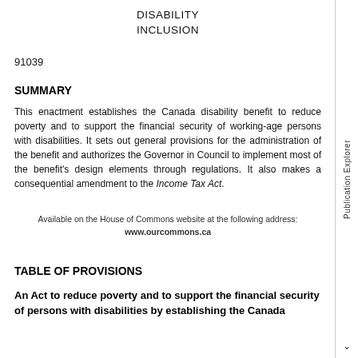DISABILITY INCLUSION
91039
SUMMARY
This enactment establishes the Canada disability benefit to reduce poverty and to support the financial security of working-age persons with disabilities. It sets out general provisions for the administration of the benefit and authorizes the Governor in Council to implement most of the benefit's design elements through regulations. It also makes a consequential amendment to the Income Tax Act.
Available on the House of Commons website at the following address: www.ourcommons.ca
TABLE OF PROVISIONS
An Act to reduce poverty and to support the financial security of persons with disabilities by establishing the Canada